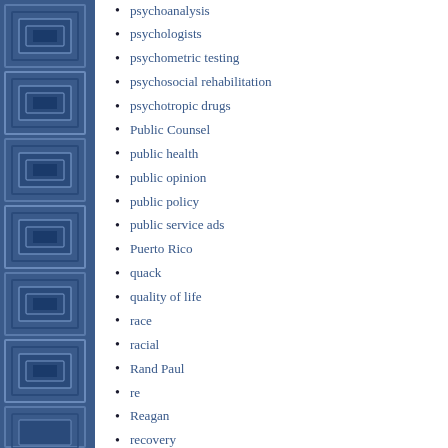[Figure (illustration): Blue decorative sidebar with geometric square/rectangle pattern in varying shades of blue]
psychoanalysis
psychologists
psychometric testing
psychosocial rehabilitation
psychotropic drugs
Public Counsel
public health
public opinion
public policy
public service ads
Puerto Rico
quack
quality of life
race
racial
Rand Paul
re
Reagan
recovery
regional centers
registry
regulation
Rehabilitation Act